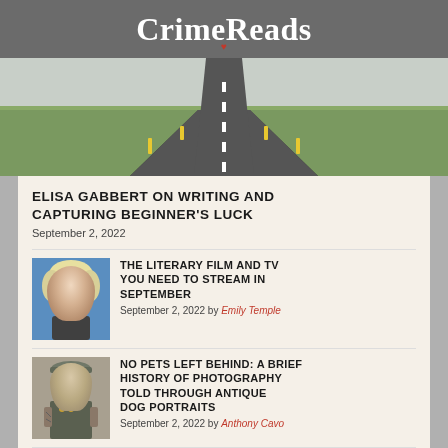CrimeReads
[Figure (photo): A straight road stretching into the distance through green countryside under an overcast sky]
ELISA GABBERT ON WRITING AND CAPTURING BEGINNER'S LUCK
September 2, 2022
[Figure (photo): Black and white / blue-tinted portrait of a blonde woman resembling Marilyn Monroe]
THE LITERARY FILM AND TV YOU NEED TO STREAM IN SEPTEMBER
September 2, 2022 by Emily Temple
[Figure (photo): Black and white portrait of a person with tattoos]
NO PETS LEFT BEHIND: A BRIEF HISTORY OF PHOTOGRAPHY TOLD THROUGH ANTIQUE DOG PORTRAITS
September 2, 2022 by Anthony Cavo
[Figure (photo): Partial thumbnail image for next article]
LOVING HIGHSMITH REEKS